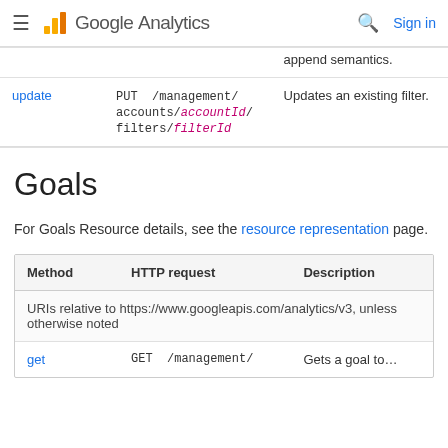Google Analytics
| Method | HTTP request | Description |
| --- | --- | --- |
| (continuation) | …append semantics. |  |
| update | PUT /management/accounts/{accountId}/filters/{filterId} | Updates an existing filter. |
Goals
For Goals Resource details, see the resource representation page.
| Method | HTTP request | Description |
| --- | --- | --- |
| URIs relative to https://www.googleapis.com/analytics/v3, unless otherwise noted |  |  |
| get | GET /management/ | Gets a goal to… |